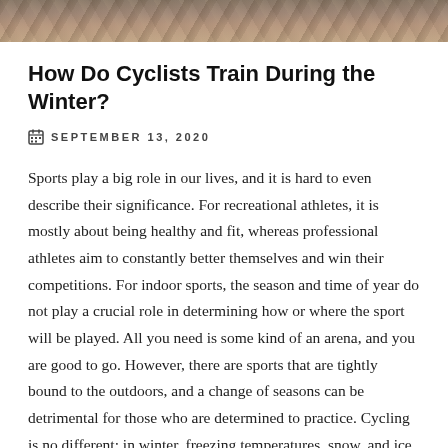[Figure (photo): Partial photo strip at the top of the page showing a snowy or rocky outdoor scene, cropped to a thin horizontal band.]
How Do Cyclists Train During the Winter?
SEPTEMBER 13, 2020
Sports play a big role in our lives, and it is hard to even describe their significance. For recreational athletes, it is mostly about being healthy and fit, whereas professional athletes aim to constantly better themselves and win their competitions. For indoor sports, the season and time of year do not play a crucial role in determining how or where the sport will be played. All you need is some kind of an arena, and you are good to go. However, there are sports that are tightly bound to the outdoors, and a change of seasons can be detrimental for those who are determined to practice. Cycling is no different; in winter, freezing temperatures, snow, and ice make it very difficult to simply go out and ride. Skipping training for several months is not